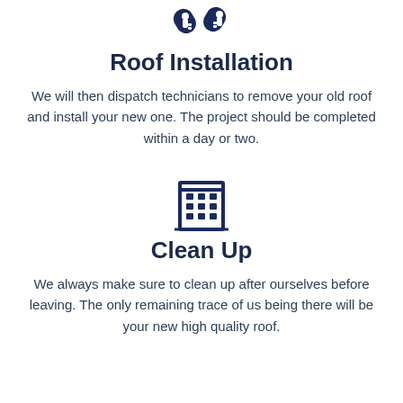[Figure (illustration): Two dark navy tag/key icons side by side representing roof installation]
Roof Installation
We will then dispatch technicians to remove your old roof and install your new one. The project should be completed within a day or two.
[Figure (illustration): Dark navy building/office icon representing clean up]
Clean Up
We always make sure to clean up after ourselves before leaving. The only remaining trace of us being there will be your new high quality roof.